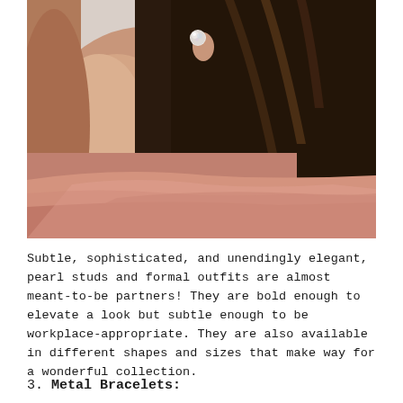[Figure (photo): Close-up photo of a woman's neck and ear wearing a pearl stud earring. She has dark hair pulled back and is wearing a pink/dusty rose off-shoulder top or drape. The background is light/white.]
Subtle, sophisticated, and unendingly elegant, pearl studs and formal outfits are almost meant-to-be partners! They are bold enough to elevate a look but subtle enough to be workplace-appropriate. They are also available in different shapes and sizes that make way for a wonderful collection.
3. Metal Bracelets: